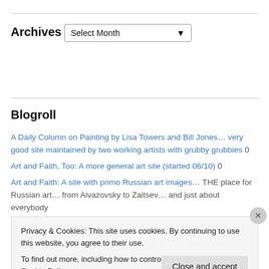Archives
Select Month
Blogroll
A Daily Column on Painting by Lisa Towers and Bill Jones… very good site maintained by two working artists with grubby grubbies 0
Art and Faith, Too: A more general art site (started 06/10) 0
Art and Faith: A site with primo Russian art images… THE place for Russian art… from Aivazovsky to Zaitsev… and just about everybody
Privacy & Cookies: This site uses cookies. By continuing to use this website, you agree to their use.
To find out more, including how to control cookies, see here: Cookie Policy